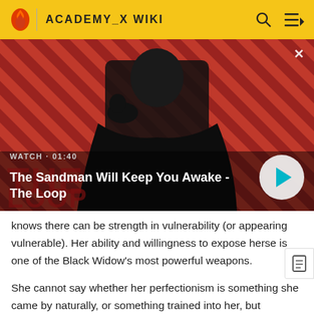ACADEMY_X WIKI
[Figure (screenshot): Video thumbnail showing a dark-cloaked figure with a raven on shoulder against a red diagonal-striped background. Text overlay: WATCH • 01:40, The Sandman Will Keep You Awake - The Loop. Play button in bottom right.]
knows there can be strength in vulnerability (or appearing vulnerable). Her ability and willingness to expose herself is one of the Black Widow's most powerful weapons.
She cannot say whether her perfectionism is something she came by naturally, or something trained into her, but